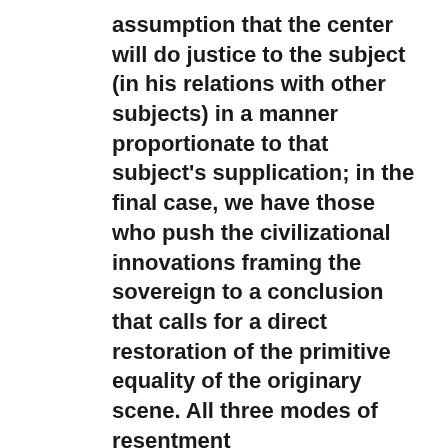assumption that the center will do justice to the subject (in his relations with other subjects) in a manner proportionate to that subject's supplication; in the final case, we have those who push the civilizational innovations framing the sovereign to a conclusion that calls for a direct restoration of the primitive equality of the originary scene. All three modes of resentment